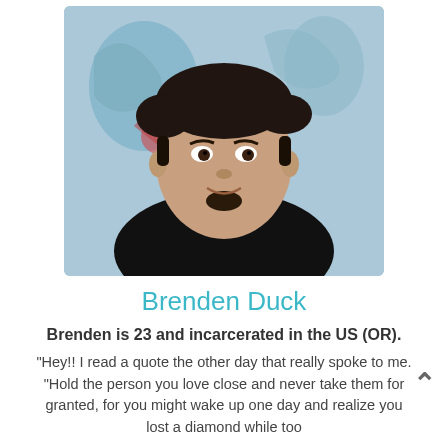[Figure (photo): Portrait photo of a young man in a black shirt, with a light blue background featuring decorative art. He has short dark hair and a small goatee.]
Brenden Duck
Brenden is 23 and incarcerated in the US (OR).
"Hey!! I read a quote the other day that really spoke to me. "Hold the person you love close and never take them for granted, for you might wake up one day and realize you lost a diamond while too